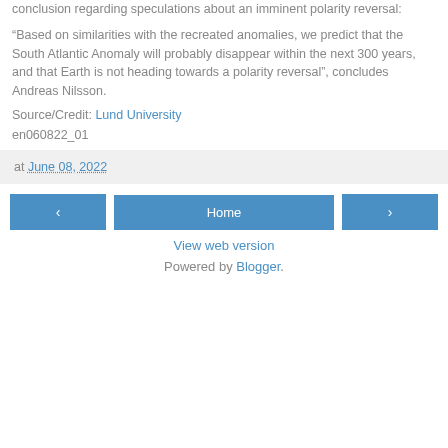conclusion regarding speculations about an imminent polarity reversal:
“Based on similarities with the recreated anomalies, we predict that the South Atlantic Anomaly will probably disappear within the next 300 years, and that Earth is not heading towards a polarity reversal”, concludes Andreas Nilsson.
Source/Credit: Lund University
en060822_01
at June 08, 2022
Home
View web version
Powered by Blogger.